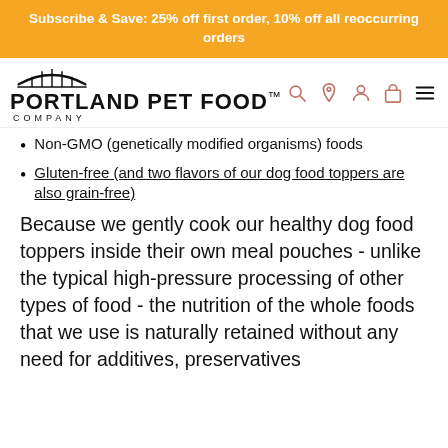Subscribe & Save: 25% off first order, 10% off all reoccurring orders
[Figure (logo): Portland Pet Food Company logo with bridge icon]
Non-GMO (genetically modified organisms) foods
Gluten-free (and two flavors of our dog food toppers are also grain-free)
Because we gently cook our healthy dog food toppers inside their own meal pouches - unlike the typical high-pressure processing of other types of food - the nutrition of the whole foods that we use is naturally retained without any need for additives, preservatives